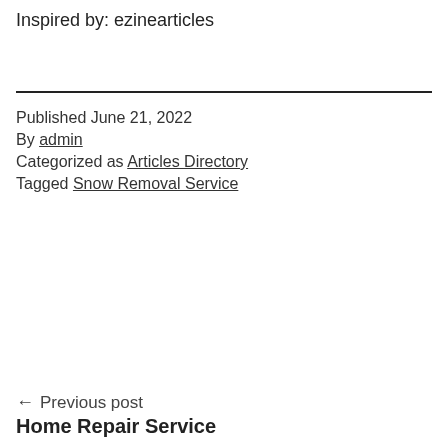Inspired by: ezinearticles
Published June 21, 2022
By admin
Categorized as Articles Directory
Tagged Snow Removal Service
← Previous post